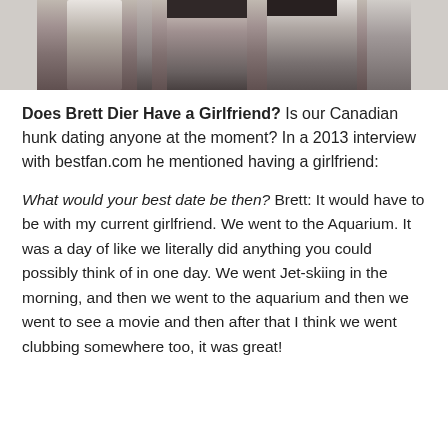[Figure (photo): Cropped photo showing the lower body of two people standing close together, wearing shorts/underwear. One appears to be using a crutch or pole. Photo is partially cut off at the top.]
Does Brett Dier Have a Girlfriend? Is our Canadian hunk dating anyone at the moment? In a 2013 interview with bestfan.com he mentioned having a girlfriend:
What would your best date be then? Brett: It would have to be with my current girlfriend. We went to the Aquarium. It was a day of like we literally did anything you could possibly think of in one day. We went Jet-skiing in the morning, and then we went to the aquarium and then we went to see a movie and then after that I think we went clubbing somewhere too, it was great!